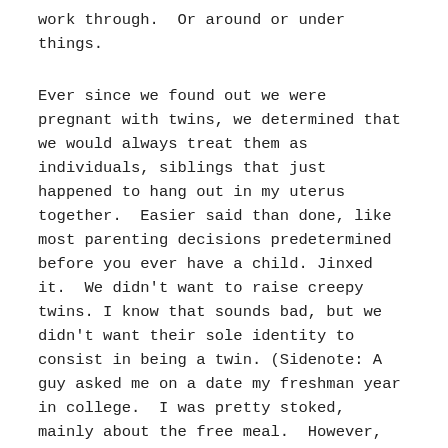work through. Or around or under things.
Ever since we found out we were pregnant with twins, we determined that we would always treat them as individuals, siblings that just happened to hang out in my uterus together. Easier said than done, like most parenting decisions predetermined before you ever have a child. Jinxed it. We didn't want to raise creepy twins. I know that sounds bad, but we didn't want their sole identity to consist in being a twin. (Sidenote: A guy asked me on a date my freshman year in college. I was pretty stoked, mainly about the free meal. However, he cancelled last-minute because his twin brother had a headache. Empathetic, maybe too much so for my eighteen year old, Outback Steakhouse loving self. There